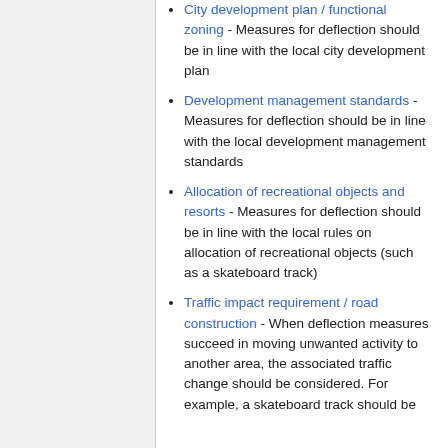City development plan / functional zoning - Measures for deflection should be in line with the local city development plan
Development management standards - Measures for deflection should be in line with the local development management standards
Allocation of recreational objects and resorts - Measures for deflection should be in line with the local rules on allocation of recreational objects (such as a skateboard track)
Traffic impact requirement / road construction - When deflection measures succeed in moving unwanted activity to another area, the associated traffic change should be considered. For example, a skateboard track should be